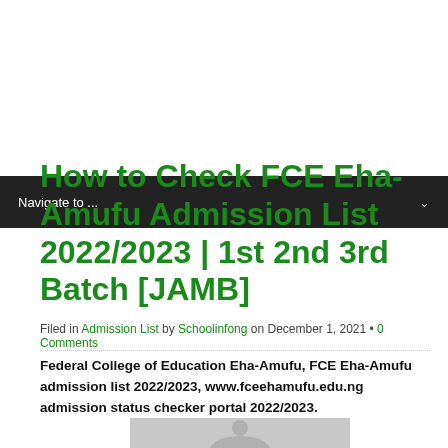Navigate to ...
How to Check FCE Eha-Amufu Admission List 2022/2023 | 1st 2nd 3rd Batch [JAMB]
Filed in Admission List by Schoolinfong on December 1, 2021 • 0 Comments
Federal College of Education Eha-Amufu, FCE Eha-Amufu admission list 2022/2023, www.fceehamufu.edu.ng admission status checker portal 2022/2023.
[Figure (photo): Partial image visible at bottom of page, appears to be a photo related to the article]